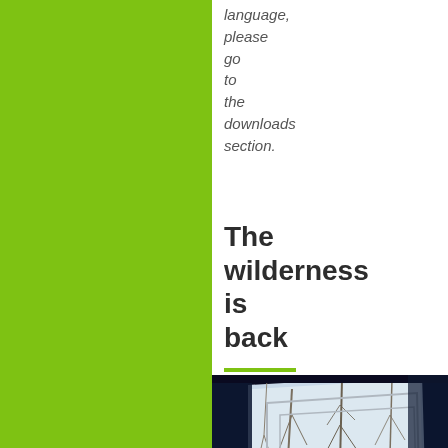language, please go to the downloads section.
The wilderness is back
[Figure (photo): A view through a triangular/trapezoidal window into a dark space, showing bare winter trees outside and a white horse or deer standing in a snowy or bright outdoor scene, framed by dark blue interior panels.]